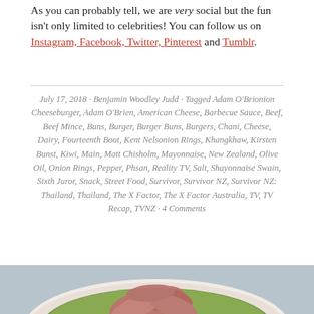As you can probably tell, we are very social but the fun isn't only limited to celebrities! You can follow us on Instagram, Facebook, Twitter, Pinterest and Tumblr.
July 17, 2018 · Benjamin Woodley Judd · Tagged Adam O'Brionion Cheeseburger, Adam O'Brien, American Cheese, Barbecue Sauce, Beef, Beef Mince, Buns, Burger, Burger Buns, Burgers, Chani, Cheese, Dairy, Fourteenth Boot, Kent Nelsonion Rings, Khangkhaw, Kirsten Bunst, Kiwi, Main, Matt Chisholm, Mayonnaise, New Zealand, Olive Oil, Onion Rings, Pepper, Phsan, Reality TV, Salt, Shayonnaise Swain, Sixth Juror, Snack, Street Food, Survivor, Survivor NZ, Survivor NZ: Thailand, Thailand, The X Factor, The X Factor Australia, TV, TV Recap, TVNZ · 4 Comments
[Figure (photo): A white bowl containing green soup (possibly pea or broccoli soup) topped with shredded pink/red meat (possibly pulled pork or prosciutto), photographed from above against a grey-blue background.]